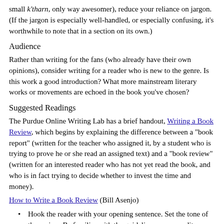small k'tharn, only way awesomer), reduce your reliance on jargon. (If the jargon is especially well-handled, or especially confusing, it's worthwhile to note that in a section on its own.)
Audience
Rather than writing for the fans (who already have their own opinions), consider writing for a reader who is new to the genre. Is this work a good introduction? What more mainstream literary works or movements are echoed in the book you've chosen?
Suggested Readings
The Purdue Online Writing Lab has a brief handout, Writing a Book Review, which begins by explaining the difference between a "book report" (written for the teacher who assigned it, by a student who is trying to prove he or she read an assigned text) and a "book review" (written for an interested reader who has not yet read the book, and who is in fact trying to decide whether to invest the time and money).
How to Write a Book Review (Bill Asenjo)
Hook the reader with your opening sentence. Set the tone of the review. Be familiar with the guidelines -- some editors